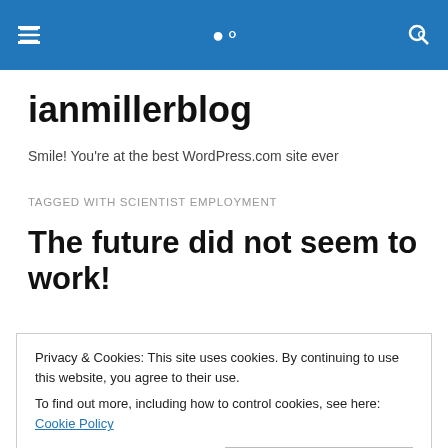ianmillerblog navigation header
ianmillerblog
Smile! You're at the best WordPress.com site ever
TAGGED WITH SCIENTIST EMPLOYMENT
The future did not seem to work!
Privacy & Cookies: This site uses cookies. By continuing to use this website, you agree to their use.
To find out more, including how to control cookies, see here: Cookie Policy
anything people wanted, provided the laws of physics and